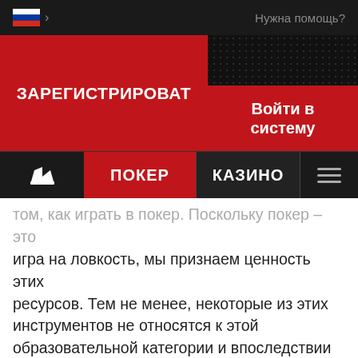[Figure (screenshot): Top navigation bar with Russian flag, arrow, and 'Нужна помощь?' help text on dark background]
[Figure (screenshot): Registration/login hero section with dark dotted background, red 'ЗАРЕГИСТРИРОВАТ' button and red 'Войти в систему' button]
[Figure (screenshot): Navigation bar with crown icon, red ПОКЕР tab, dark КАЗИНО tab, and hamburger menu icon]
том, как играть в покер. Поскольку покер – это игра на ловкость, мы признаем ценность этих ресурсов. Тем не менее, некоторые из этих инструментов не относятся к этой образовательной категории и впоследствии могут быть использованы для создания несправедливого преимущества.
В результате мы разработали исчерпывающий список как приемлемых, так и запрещенных инструментов для игроков